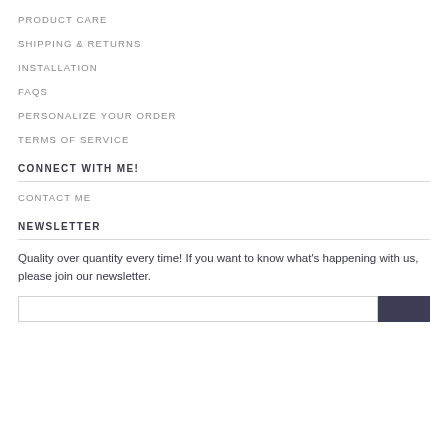PRODUCT CARE
SHIPPING & RETURNS
INSTALLATION
FAQS
PERSONALIZE YOUR ORDER
TERMS OF SERVICE
CONNECT WITH ME!
CONTACT ME
NEWSLETTER
Quality over quantity every time!  If you want to know what's happening with us, please join our newsletter.